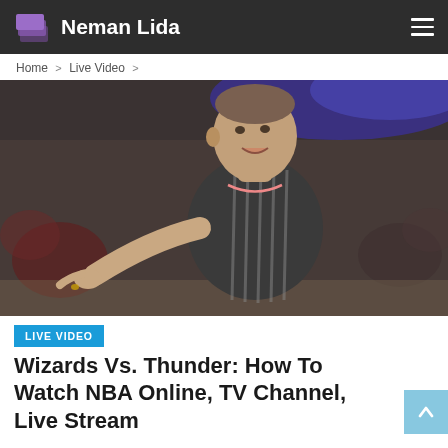Neman Lida
Home > Live Video >
[Figure (photo): NBA referee in gray striped shirt pointing and calling a foul during a basketball game, with a blurred crowd in the background and blue arena lighting.]
LIVE VIDEO
Wizards Vs. Thunder: How To Watch NBA Online, TV Channel, Live Stream